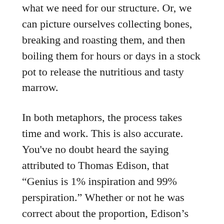what we need for our structure. Or, we can picture ourselves collecting bones, breaking and roasting them, and then boiling them for hours or days in a stock pot to release the nutritious and tasty marrow.
In both metaphors, the process takes time and work. This is also accurate. You've no doubt heard the saying attributed to Thomas Edison, that “Genius is 1% inspiration and 99% perspiration.” Whether or not he was correct about the proportion, Edison’s point was a good one. People sometimes imagine that working with ideas is essentially different from other types of work; that knowledge workers are a special elite group